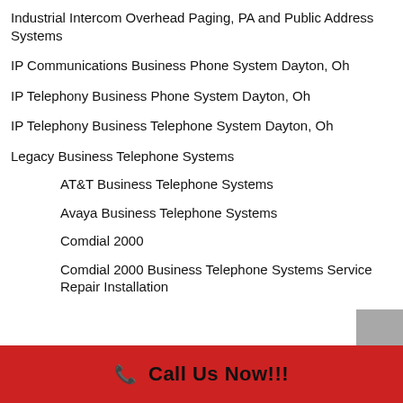Industrial Intercom Overhead Paging, PA and Public Address Systems
IP Communications Business Phone System Dayton, Oh
IP Telephony Business Phone System Dayton, Oh
IP Telephony Business Telephone System Dayton, Oh
Legacy Business Telephone Systems
AT&T Business Telephone Systems
Avaya Business Telephone Systems
Comdial 2000
Comdial 2000 Business Telephone Systems Service Repair Installation
📞 Call Us Now!!!